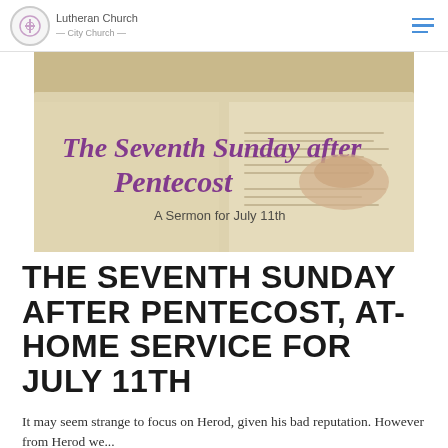Lutheran Church
[Figure (photo): An open Bible with a decorative script overlay reading 'The Seventh Sunday after Pentecost' and subtitle 'A Sermon for July 11th']
THE SEVENTH SUNDAY AFTER PENTECOST, AT-HOME SERVICE FOR JULY 11TH
It may seem strange to focus on Herod, given his bad reputation. However from Herod we...